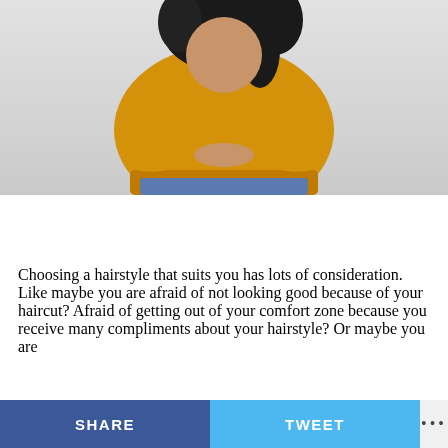[Figure (photo): Woman in yellow sweater with arms crossed and dark curly hair, wearing blue denim shorts, photographed from torso up against a light gray background.]
Choosing a hairstyle that suits you has lots of consideration. Like maybe you are afraid of not looking good because of your haircut? Afraid of getting out of your comfort zone because you receive many compliments about your hairstyle? Or maybe you are
SHARE   TWEET   •••